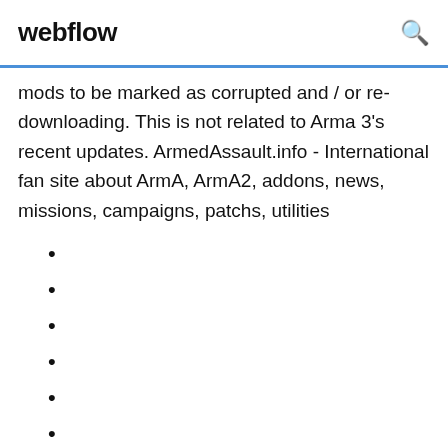webflow
mods to be marked as corrupted and / or re-downloading. This is not related to Arma 3's recent updates. ArmedAssault.info - International fan site about ArmA, ArmA2, addons, news, missions, campaigns, patchs, utilities